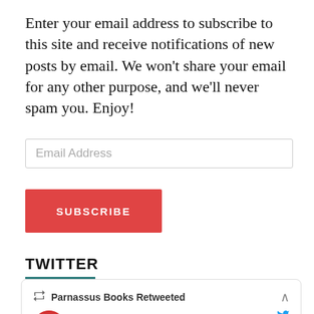Enter your email address to subscribe to this site and receive notifications of new posts by email. We won't share your email for any other purpose, and we'll never spam you. Enjoy!
[Figure (screenshot): Email address input field with placeholder text 'Email Address']
[Figure (screenshot): Red SUBSCRIBE button]
TWITTER
Parnassus Books Retweeted
IndieBound @indiebound · 22h
Happy September! 😍